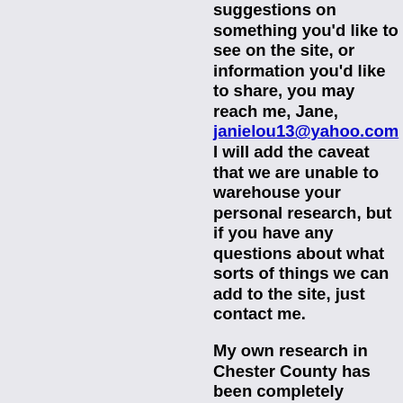suggestions on something you'd like to see on the site, or information you'd like to share, you may reach me, Jane, janielou13@yahoo.com I will add the caveat that we are unable to warehouse your personal research, but if you have any questions about what sorts of things we can add to the site, just contact me.

My own research in Chester County has been completely